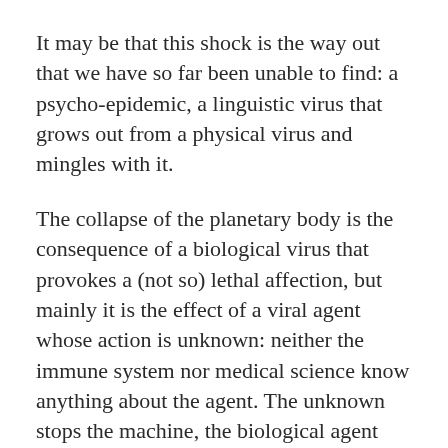It may be that this shock is the way out that we have so far been unable to find: a psycho-epidemic, a linguistic virus that grows out from a physical virus and mingles with it.
The collapse of the planetary body is the consequence of a biological virus that provokes a (not so) lethal affection, but mainly it is the effect of a viral agent whose action is unknown: neither the immune system nor medical science know anything about the agent. The unknown stops the machine, the biological agent turns into an info-virus, and the info-virus unchains a psychotic reaction.
A semiotic virus in the psychosphere has blocked the abstract functioning of the system, by removing bodies...